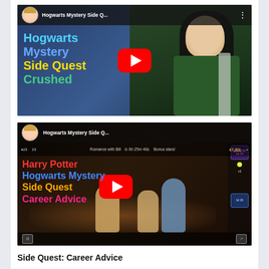[Figure (screenshot): YouTube video thumbnail for 'Hogwarts Mystery Side Q...' showing a dark-haired character in Slytherin robes. Text overlay reads 'Hogwarts Mystery Side Quest Crushed' in colorful letters with a YouTube play button.]
[Figure (screenshot): YouTube video thumbnail for 'Hogwarts Mystery Side Q...' showing Harry Potter Hogwarts Mystery Side Quest Career Advice with game UI overlay and YouTube play button.]
Side Quest: Career Advice